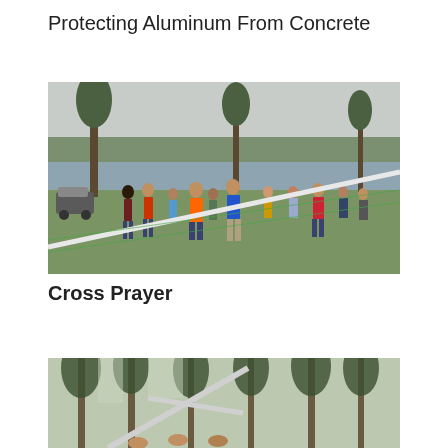Protecting Aluminum From Concrete
[Figure (photo): Group of people standing outdoors on grass near a waterfront, gathered in a loose circle with trees and a lake visible in the background. A long white aluminum beam is visible in the foreground. Overcast sky. A golf cart is visible on the left.]
Cross Prayer
[Figure (photo): People outdoors in a wooded area holding up what appears to be a large metal or aluminum cross structure among tall pine trees. Partially visible, cropped at bottom.]